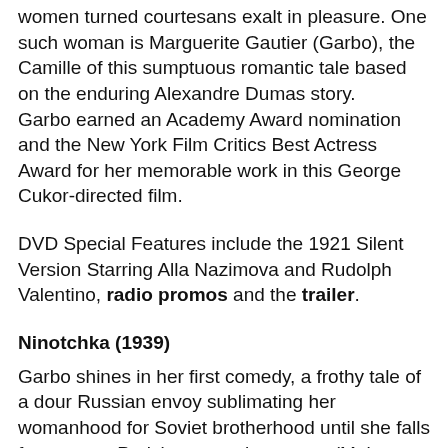women turned courtesans exalt in pleasure. One such woman is Marguerite Gautier (Garbo), the Camille of this sumptuous romantic tale based on the enduring Alexandre Dumas story. Garbo earned an Academy Award nomination and the New York Film Critics Best Actress Award for her memorable work in this George Cukor-directed film.
DVD Special Features include the 1921 Silent Version Starring Alla Nazimova and Rudolph Valentino, radio promos and the trailer.
Ninotchka (1939)
Garbo shines in her first comedy, a frothy tale of a dour Russian envoy sublimating her womanhood for Soviet brotherhood until she falls for a suave Parisian man-about-town (Melvyn Douglas). Working from a clever script written in part by Billy Wilder, director Ernst Lubitsch knew better than anyone how to marry refinement with sublime wit. That’s how we see Garbo’s love struck Ninotchka: serenely dignified yet